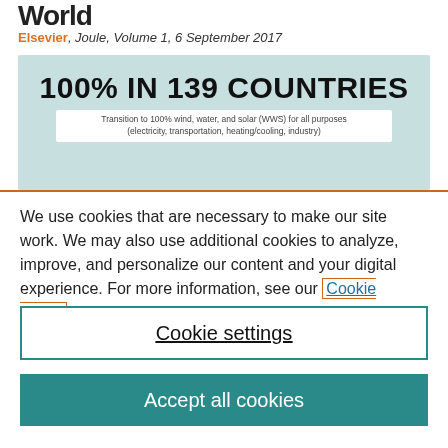World
Elsevier, Joule, Volume 1, 6 September 2017
[Figure (infographic): Light teal banner with bold heading '100% IN 139 COUNTRIES' and subtitle 'Transition to 100% wind, water, and solar (WWS) for all purposes (electricity, transportation, heating/cooling, industry)']
We use cookies that are necessary to make our site work. We may also use additional cookies to analyze, improve, and personalize our content and your digital experience. For more information, see our Cookie Policy.
Cookie settings
Accept all cookies